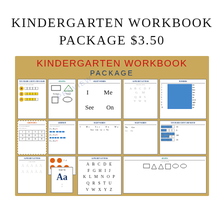KINDERGARTEN WORKBOOK PACKAGE $3.50
[Figure (illustration): Preview collage of kindergarten workbook pages including Ten Frame Count and Color, Shapes, Sight Words, Alphabet Letters, Numbers, Count by 3, Addition, and more worksheets on a tan/burlap background. Red and blue banner text reads KINDERGARTEN WORKBOOK PACKAGE. A diagonal watermark 'PREVIEW' overlays the image.]